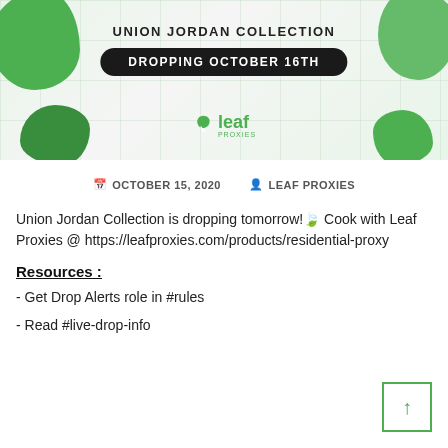[Figure (illustration): Promotional banner for Union Jordan Collection with green blob decorations, a dark pill-shaped button reading 'DROPPING OCTOBER 16TH', and the Leaf Proxies logo in green on a light grid background.]
📅 OCTOBER 15, 2020   👤 LEAF PROXIES
Union Jordan Collection is dropping tomorrow!🍃 Cook with Leaf Proxies @ https://leafproxies.com/products/residential-proxy
Resources :
- Get Drop Alerts role in #rules
- Read #live-drop-info